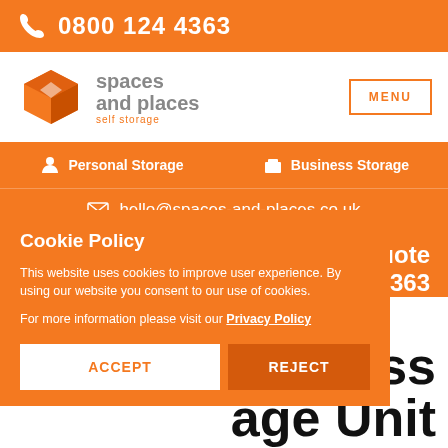0800 124 4363
[Figure (logo): Spaces and Places self storage logo with orange box icon]
MENU
Personal Storage
Business Storage
hello@spaces-and-places.co.uk
Quote
4363
Cookie Policy
This website uses cookies to improve user experience. By using our website you consent to our use of cookies.
For more information please visit our Privacy Policy
ACCEPT
REJECT
uccess age Unit